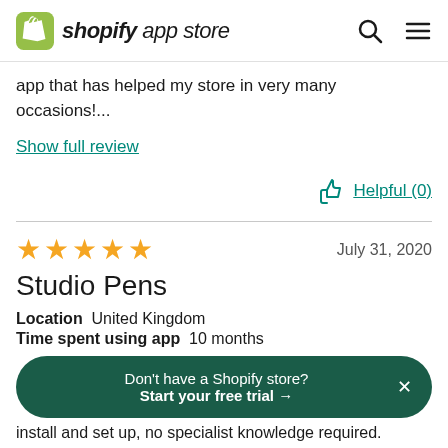shopify app store
app that has helped my store in very many occasions!...
Show full review
Helpful (0)
★★★★★   July 31, 2020
Studio Pens
Location   United Kingdom
Time spent using app   10 months
Don't have a Shopify store? Start your free trial →
install and set up, no specialist knowledge required.